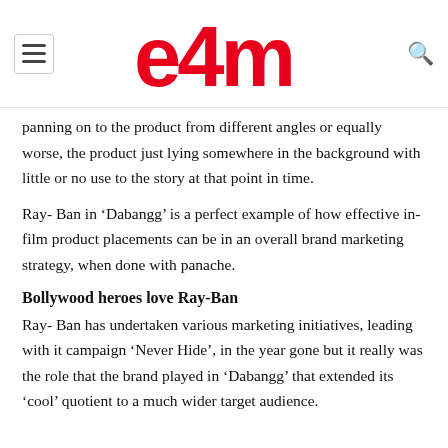e4m
panning on to the product from different angles or equally worse, the product just lying somewhere in the background with little or no use to the story at that point in time.
Ray- Ban in ‘Dabangg’ is a perfect example of how effective in-film product placements can be in an overall brand marketing strategy, when done with panache.
Bollywood heroes love Ray-Ban
Ray- Ban has undertaken various marketing initiatives, leading with it campaign ‘Never Hide’, in the year gone but it really was the role that the brand played in ‘Dabangg’ that extended its ‘cool’ quotient to a much wider target audience.